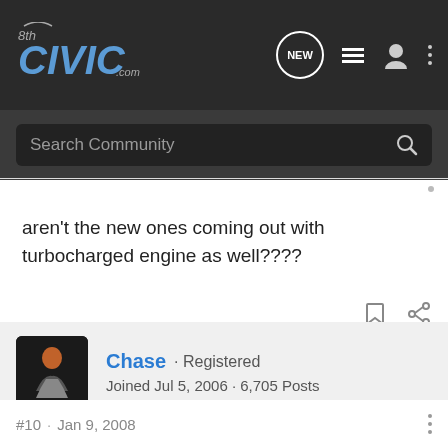[Figure (logo): 8thCivic.com website logo and navigation bar with search icon, list icon, user icon, and overflow dots]
aren't the new ones coming out with turbocharged engine as well????
Chase · Registered
Joined Jul 5, 2006 · 6,705 Posts
#10 · Jan 9, 2008
I love my brother but not that much